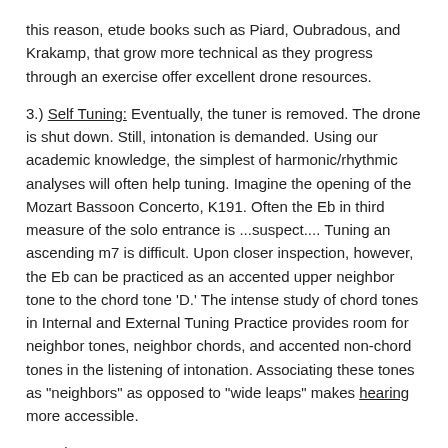this reason, etude books such as Piard, Oubradous, and Krakamp, that grow more technical as they progress through an exercise offer excellent drone resources.
3.) Self Tuning: Eventually, the tuner is removed. The drone is shut down. Still, intonation is demanded. Using our academic knowledge, the simplest of harmonic/rhythmic analyses will often help tuning. Imagine the opening of the Mozart Bassoon Concerto, K191. Often the Eb in third measure of the solo entrance is ...suspect.... Tuning an ascending m7 is difficult. Upon closer inspection, however, the Eb can be practiced as an accented upper neighbor tone to the chord tone 'D.' The intense study of chord tones in Internal and External Tuning Practice provides room for neighbor tones, neighbor chords, and accented non-chord tones in the listening of intonation. Associating these tones as "neighbors" as opposed to "wide leaps" makes hearing more accessible.
As I always say: HAPPY PRACTICING, ALL!
[Figure (other): Twitter Tweet button (blue rounded rectangle with bird icon and 'Tweet' text)]